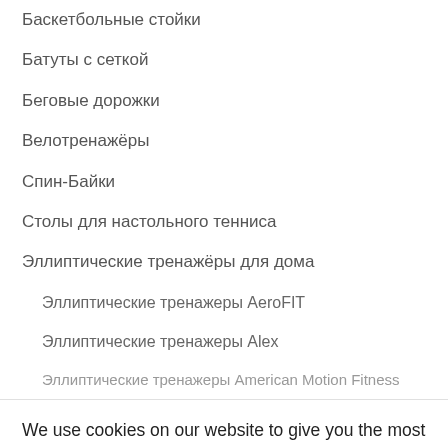Баскетбольные стойки
Батуты с сеткой
Беговые дорожки
Велотренажёры
Спин-Байки
Столы для настольного тенниса
Эллиптические тренажёры для дома
Эллиптические тренажеры AeroFIT
Эллиптические тренажеры Alex
Эллиптические тренажеры American Motion Fitness
We use cookies on our website to give you the most relevant experience by remembering your preferences and repeat visits. By clicking "Accept All", you consent to the use of ALL the cookies. However, you may visit "Cookie Settings" to provide a controlled consent.
Cookie Settings | Accept All